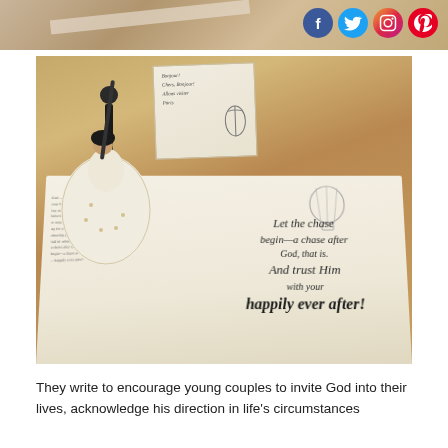[Figure (photo): Top partial photo of a decorative scene with a ribbon, warm brown tones, and social media icons (Facebook, Twitter, Instagram, Pinterest) in the upper right corner]
[Figure (photo): Photo of a wedding figurine (bride and groom) positioned on an open book reading 'Let the chase begin—a chase after God, that is. And trust Him with your happily ever after!' with a Paris-themed greeting card in the background]
They write to encourage young couples to invite God into their lives, acknowledge his direction in life's circumstances